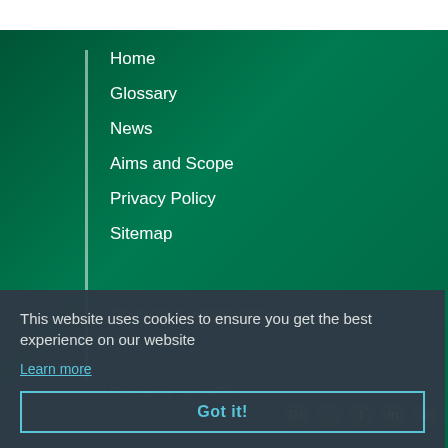Home
Glossary
News
Aims and Scope
Privacy Policy
Sitemap
This journal is licensed under a
This website uses cookies to ensure you get the best experience on our website
Learn more
Powered by ejournalPlus
Got it!